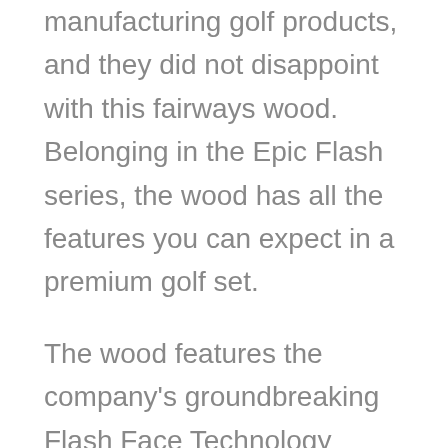manufacturing golf products, and they did not disappoint with this fairways wood. Belonging in the Epic Flash series, the wood has all the features you can expect in a premium golf set.
The wood features the company's groundbreaking Flash Face Technology integrated into their products to aid in speed and distance. It also features the company's Jailbreak Technology, which helps place more load on the face for maximum speed when you hit the ball.
Your speed and distance on on-center and off-center hits are well taken care of by this club through its innovative Forward 455 Connect...